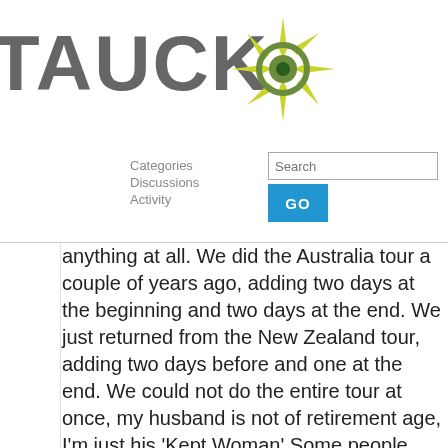[Figure (logo): Tauck logo with compass/starburst icon in green and grey text reading TAUCK]
Categories  Discussions  Activity  [Search box] GO
anything at all. We did the Australia tour a couple of years ago, adding two days at the beginning and two days at the end. We just returned from the New Zealand tour, adding two days before and one at the end. We could not do the entire tour at once, my husband is not of retirement age, I'm just his 'Kept Woman' Some people would say why pay two lots of air fair to do the tours separately. But now we are so glad we did. We got to see a lot more of Melbourne, Sydney, Wellington and Auckland and had time to digest each country separately.